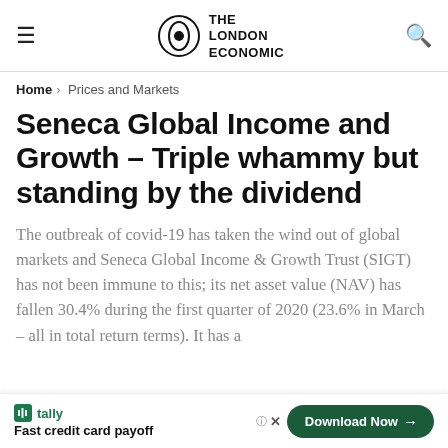THE LONDON ECONOMIC
Home > Prices and Markets
Seneca Global Income and Growth – Triple whammy but standing by the dividend
The outbreak of covid-19 has taken the wind out of global markets and Seneca Global Income & Growth Trust (SIGT) has not been immune to this; its net asset value (NAV) has fallen 30.4% during the first quarter of 2020 (23.6% in March – all in total return terms). It has a
[Figure (other): Tally advertisement banner: 'Fast credit card payoff' with Download Now button]